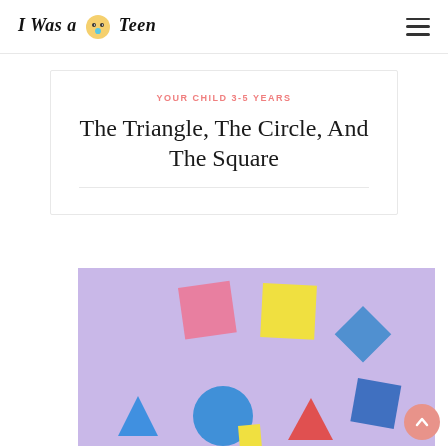I Was a Teen
YOUR CHILD 3-5 YEARS
The Triangle, The Circle, And The Square
[Figure (photo): Colorful plastic geometric shapes (squares, triangles, circles, diamonds) arranged on a purple background]